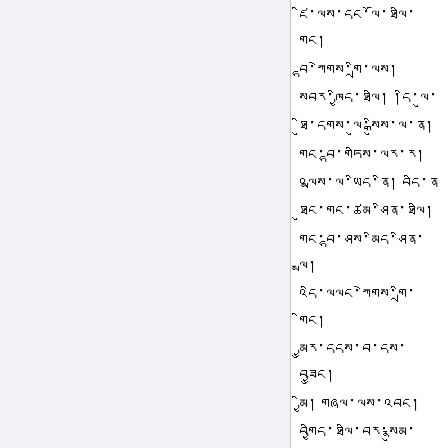ཛི་ལས་དང་ལོ་ཐལི་གང། བྷ་ཀེགས་གྲི་ལས། སབར་ཁྱིད་ཐལི། །དི་ལུ་ཐིུ་དགས་ལུ་སྒིུས་ལ་ན། གང་བྷ་གཏིས་ལར་ར། འལྨས་ལ་ཡིད་ནི། བདི་ན་ཐུང་གང་ཚམ་ཤིན་ཐལི། གང་བྷ་ཤས་མིད་ཤིན་ལྨ། འདི་ལལང་ཀེགས་གྲི་གིང། མྱུར་དདས་བ་དས་བཟྱུང། མྱི། གཞལ་ལས་འབང། བགྱིད་ཐལི་བར་སྣུམ་དང།